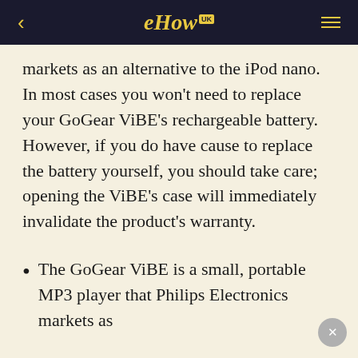eHow UK
markets as an alternative to the iPod nano. In most cases you won't need to replace your GoGear ViBE's rechargeable battery. However, if you do have cause to replace the battery yourself, you should take care; opening the ViBE's case will immediately invalidate the product's warranty.
The GoGear ViBE is a small, portable MP3 player that Philips Electronics markets as